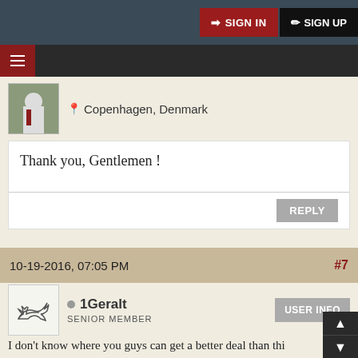SIGN IN  SIGN UP
Copenhagen, Denmark
Thank you, Gentlemen !
REPLY
10-19-2016, 07:05 PM  #7
1Geralt  SENIOR MEMBER  USER INFO
I don't know where you guys can get a better deal than thi
One of these days I would love to purchase a brush from yo
Claus! GIWTS!